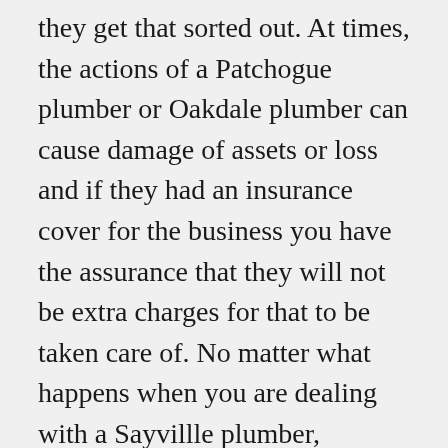they get that sorted out. At times, the actions of a Patchogue plumber or Oakdale plumber can cause damage of assets or loss and if they had an insurance cover for the business you have the assurance that they will not be extra charges for that to be taken care of. No matter what happens when you are dealing with a Sayvillle plumber, Melville plumber or Smithtown plumber, you are guaranteed that the issue will be fixed in the end.
Leaking is not a problem you want to wait for a long time before you get it fixed. If you are working with a professional, the origin of the leak will